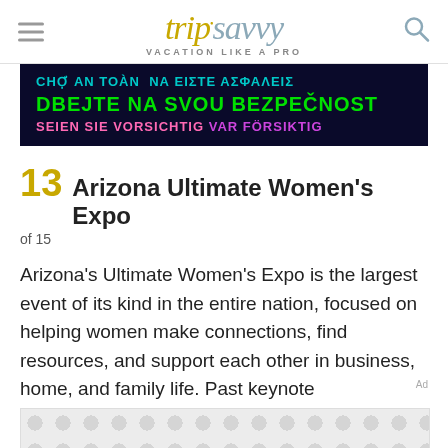tripsavvy VACATION LIKE A PRO
[Figure (screenshot): Multilingual safety advertisement banner on dark navy background with colorful text in multiple languages]
13 Arizona Ultimate Women's Expo
of 15
Arizona's Ultimate Women's Expo is the largest event of its kind in the entire nation, focused on helping women make connections, find resources, and support each other in business, home, and family life. Past keynote
[Figure (other): Advertisement placeholder with grey dot pattern]